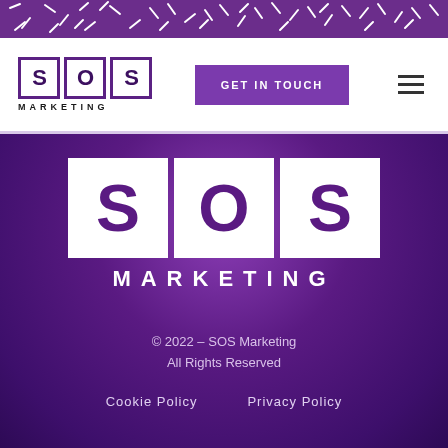[Figure (illustration): Purple decorative banner with white abstract line/tick marks pattern at top of page]
[Figure (logo): SOS Marketing logo in header: three boxed letters S, O, S in purple outline squares, with MARKETING text below in black]
GET IN TOUCH
[Figure (illustration): Hamburger menu icon (three horizontal lines) on the right of the header]
[Figure (logo): Large SOS Marketing logo centered on purple background: three white-background boxes with large purple S, O, S letters, and white MARKETING text below]
© 2022 – SOS Marketing
All Rights Reserved
Cookie Policy        Privacy Policy